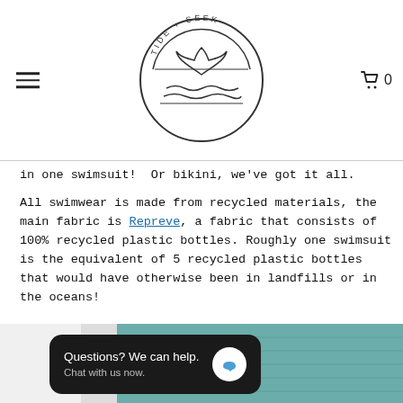[Figure (logo): Tide + Seek circular logo with whale tail and waves, navigation bar with hamburger menu on left and cart icon with 0 on right]
in one swimsuit! Or bikini, we've got it all.
All swimwear is made from recycled materials, the main fabric is Repreve, a fabric that consists of 100% recycled plastic bottles. Roughly one swimsuit is the equivalent of 5 recycled plastic bottles that would have otherwise been in landfills or in the oceans!
[Figure (photo): Photo of a blonde woman outdoors near teal/green building, with a chat widget overlay reading 'Questions? We can help. Chat with us now.']